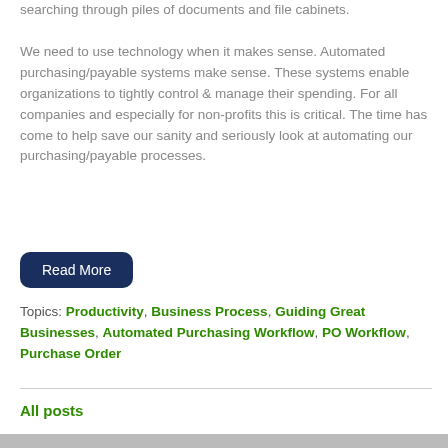searching through piles of documents and file cabinets. We need to use technology when it makes sense. Automated purchasing/payable systems make sense. These systems enable organizations to tightly control & manage their spending. For all companies and especially for non-profits this is critical. The time has come to help save our sanity and seriously look at automating our purchasing/payable processes.
Read More
Topics: Productivity, Business Process, Guiding Great Businesses, Automated Purchasing Workflow, PO Workflow, Purchase Order
All posts